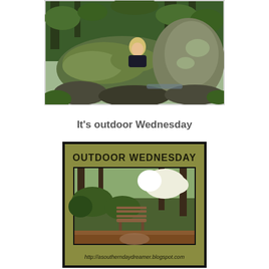[Figure (photo): Person with blonde hair crouching behind a large mossy rock in a lush green forest setting with ferns and large boulders]
It's outdoor Wednesday
[Figure (photo): Outdoor Wednesday blog badge showing a garden scene with a wooden bench, flowering dogwood trees, and greenery. Text reads OUTDOOR WEDNESDAY and http://asoutherndaydreamer.blogspot.com]